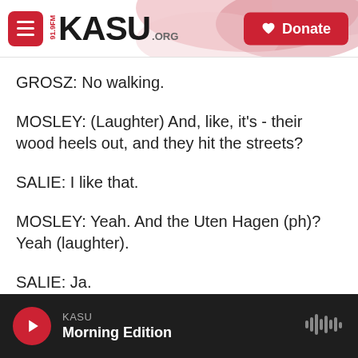[Figure (screenshot): KASU 91.9FM radio station website header with logo and Donate button]
GROSZ: No walking.
MOSLEY: (Laughter) And, like, it's - their wood heels out, and they hit the streets?
SALIE: I like that.
MOSLEY: Yeah. And the Uten Hagen (ph)? Yeah (laughter).
SALIE: Ja.
MOSLEY: Ja.
KASU Morning Edition